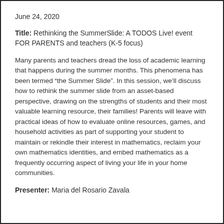June 24, 2020
Title: Rethinking the SummerSlide: A TODOS Live! event FOR PARENTS and teachers (K-5 focus)
Many parents and teachers dread the loss of academic learning that happens during the summer months. This phenomena has been termed “the Summer Slide”. In this session, we’ll discuss how to rethink the summer slide from an asset-based perspective, drawing on the strengths of students and their most valuable learning resource, their families! Parents will leave with practical ideas of how to evaluate online resources, games, and household activities as part of supporting your student to maintain or rekindle their interest in mathematics, reclaim your own mathematics identities, and embed mathematics as a frequently occurring aspect of living your life in your home communities.
Presenter: Maria del Rosario Zavala